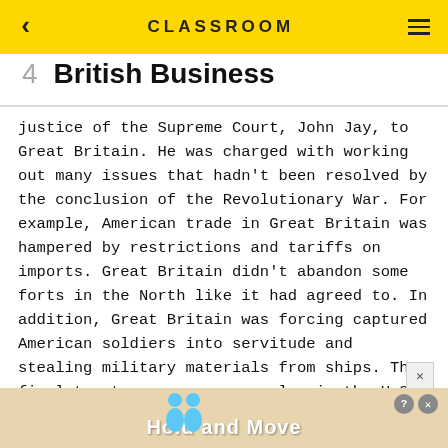CLASSROOM
4  British Business
justice of the Supreme Court, John Jay, to Great Britain. He was charged with working out many issues that hadn't been resolved by the conclusion of the Revolutionary War. For example, American trade in Great Britain was hampered by restrictions and tariffs on imports. Great Britain didn't abandon some forts in the North like it had agreed to. In addition, Great Britain was forcing captured American soldiers into servitude and stealing military materials from ships. The final treaty was very unpopular in the U.S.
[Figure (screenshot): Advertisement banner at bottom showing 'Hold and Move' with cartoon figures and close button]